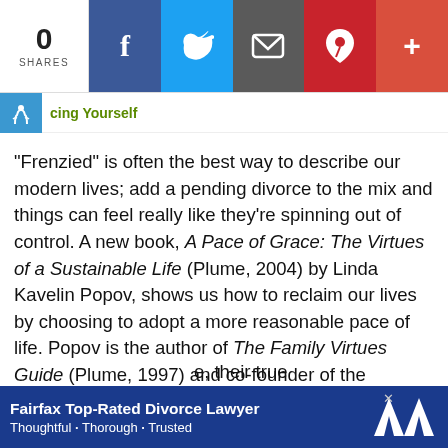0 SHARES | Facebook | Twitter | Email | Pinterest | Plus
cing Yourself
“Frenzied” is often the best way to describe our modern lives; add a pending divorce to the mix and things can feel really like they’re spinning out of control. A new book, A Pace of Grace: The Virtues of a Sustainable Life (Plume, 2004) by Linda Kavelin Popov, shows us how to reclaim our lives by choosing to adopt a more reasonable pace of life. Popov is the author of The Family Virtues Guide (Plume, 1997) and co-founder of the International Virtues Project, an inspirational personal development program. The Project is based on 52 “virtues” (for example, “enthusiasm,” “creativity,” “loyalty,” “justice”), each mined from the world’s most sacred texts. As ... e, their true ... uals, young
Fairfax Top-Rated Divorce Lawyer • Thoughtful • Thorough • Trusted × WM